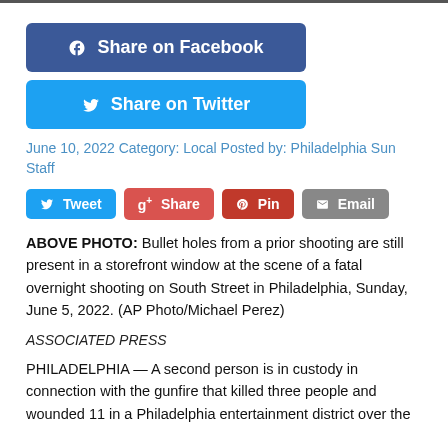[Figure (screenshot): Share on Facebook button (blue, rounded rectangle)]
[Figure (screenshot): Share on Twitter button (light blue, rounded rectangle)]
June 10, 2022 Category: Local Posted by: Philadelphia Sun Staff
[Figure (screenshot): Social sharing row: Tweet (Twitter/blue), Share (Google+/red), Pin (Pinterest/dark red), Email (grey) buttons]
ABOVE PHOTO: Bullet holes from a prior shooting are still present in a storefront window at the scene of a fatal overnight shooting on South Street in Philadelphia, Sunday, June 5, 2022. (AP Photo/Michael Perez)
ASSOCIATED PRESS
PHILADELPHIA — A second person is in custody in connection with the gunfire that killed three people and wounded 11 in a Philadelphia entertainment district over the